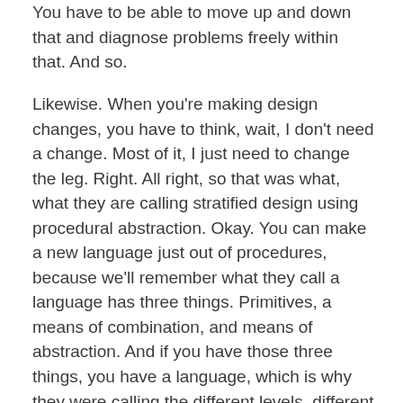You have to be able to move up and down that and diagnose problems freely within that. And so.
Likewise. When you're making design changes, you have to think, wait, I don't need a change. Most of it, I just need to change the leg. Right. All right, so that was what, what they are calling stratified design using procedural abstraction. Okay. You can make a new language just out of procedures, because we'll remember what they call a language has three things. Primitives, a means of combination, and means of abstraction. And if you have those three things, you have a language, which is why they were calling the different levels, different languages, okay. But all they were doing was defining new functions, new procedures.